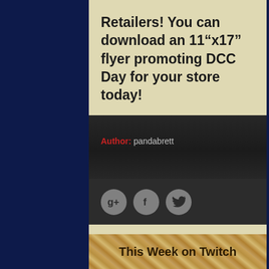Retailers! You can download an 11“x17” flyer promoting DCC Day for your store today!
Author: pandabrett
[Figure (infographic): Three social sharing buttons: Google+, Facebook, and Twitter, shown as gray circles with icons]
This Week on Twitch